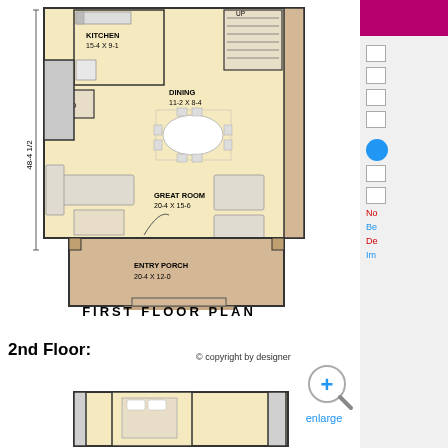[Figure (engineering-diagram): First floor architectural floor plan showing Kitchen 15-4 x 9-1, Dining 11-2 x 8-4, Great Room 20-4 x 15-6, Entry Porch 20-4 x 12-0, with overall dimension 48-4 1/2. Furniture layout indicated.]
FIRST FLOOR PLAN
2nd Floor:
© copyright by designer
[Figure (engineering-diagram): Second floor architectural floor plan partial view showing bedroom layout.]